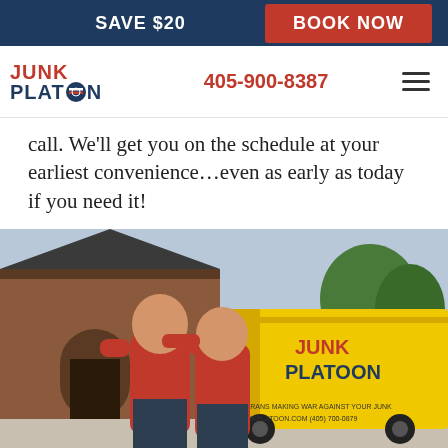SAVE $20   BOOK NOW
JUNK PLATOON  405-900-8387
call. We’ll get you on the schedule at your earliest convenience…even as early as today if you need it!
[Figure (photo): Two men in red Junk Platoon shirts smiling and posing together in front of a brick house and a yellow Junk Platoon truck.]